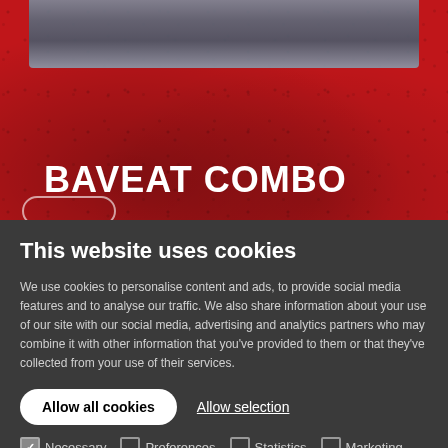[Figure (photo): Food photo showing a dark stone/pizza surface texture, partially visible at the top of a red background]
BAVEAT COMBO
Hot Tomato sauce combined with Say Cheese! topped off with rucola and vegetarian cheatballs & parmesan
This website uses cookies
We use cookies to personalise content and ads, to provide social media features and to analyse our traffic. We also share information about your use of our site with our social media, advertising and analytics partners who may combine it with other information that you've provided to them or that they've collected from your use of their services.
Allow all cookies | Allow selection
Necessary | Preferences | Statistics | Marketing